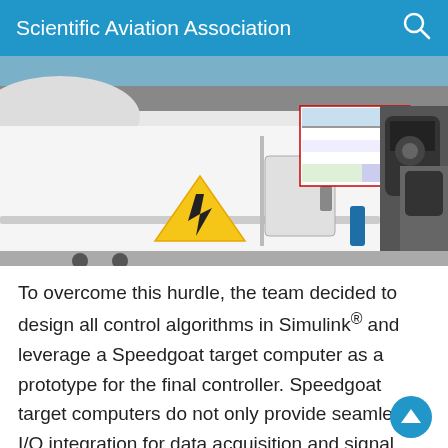Scientific Aviation Association
[Figure (photo): Close-up photograph of a white aircraft fuselage showing a yellow electrical hazard warning triangle, a mounted label/placard with diagrams, and exposed engine components in the background inside a hangar.]
To overcome this hurdle, the team decided to design all control algorithms in Simulink® and leverage a Speedgoat target computer as a prototype for the final controller. Speedgoat target computers do not only provide seamless I/O integration for data acquisition and signal generation, but they are instrumental to rapidly iterate new control concepts from Simulink and